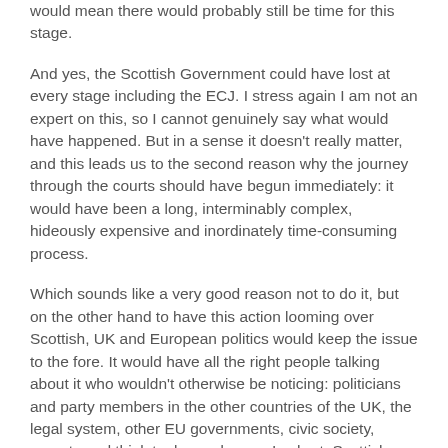would mean there would probably still be time for this stage.
And yes, the Scottish Government could have lost at every stage including the ECJ. I stress again I am not an expert on this, so I cannot genuinely say what would have happened. But in a sense it doesn't really matter, and this leads us to the second reason why the journey through the courts should have begun immediately: it would have been a long, interminably complex, hideously expensive and inordinately time-consuming process.
Which sounds like a very good reason not to do it, but on the other hand to have this action looming over Scottish, UK and European politics would keep the issue to the fore. It would have all the right people talking about it who wouldn't otherwise be noticing: politicians and party members in the other countries of the UK, the legal system, other EU governments, civic society, experts and think tanks, and more. In short, Scottish independence would